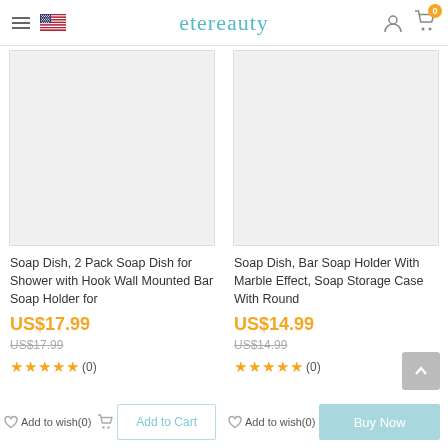etereauty
[Figure (photo): Product image placeholder for Soap Dish 2 Pack - light gray rectangle]
Soap Dish, 2 Pack Soap Dish for Shower with Hook Wall Mounted Bar Soap Holder for
US$17.99
US$17.99 (strikethrough)
★★★★★ (0)
[Figure (photo): Product image placeholder for Soap Dish Bar Soap Holder - light gray rectangle]
Soap Dish, Bar Soap Holder With Marble Effect, Soap Storage Case With Round
US$14.99
US$14.99 (strikethrough)
★★★★★ (0)
Add to wish(0) | Add to Cart
Add to wish(0) | Buy Now